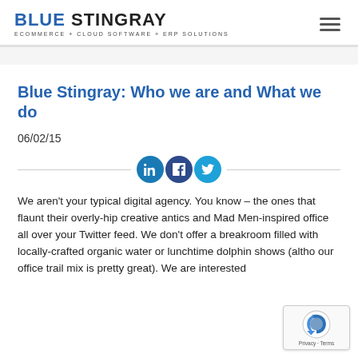BLUE STINGRAY — ECOMMERCE + CLOUD SOFTWARE + ERP SOLUTIONS
Blue Stingray: Who we are and What we do
06/02/15
[Figure (infographic): Social sharing icons: LinkedIn, Facebook, Twitter in circular buttons with a horizontal divider line on each side]
We aren't your typical digital agency. You know – the ones that flaunt their overly-hip creative antics and Mad Men-inspired office all over your Twitter feed. We don't offer a breakroom filled with locally-crafted organic water or lunchtime dolphin shows (although our office trail mix is pretty great). We are interested